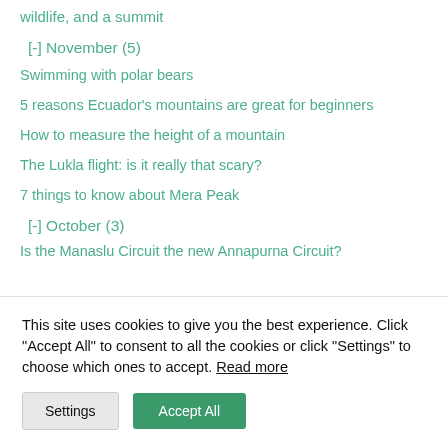wildlife, and a summit
[-] November (5)
Swimming with polar bears
5 reasons Ecuador's mountains are great for beginners
How to measure the height of a mountain
The Lukla flight: is it really that scary?
7 things to know about Mera Peak
[-] October (3)
Is the Manaslu Circuit the new Annapurna Circuit?
This site uses cookies to give you the best experience. Click "Accept All" to consent to all the cookies or click "Settings" to choose which ones to accept. Read more
Settings | Accept All